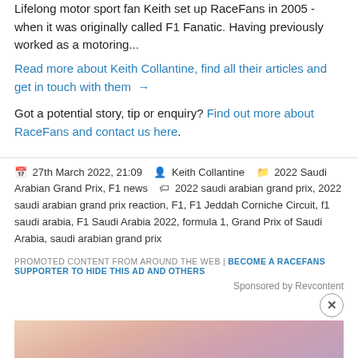Lifelong motor sport fan Keith set up RaceFans in 2005 - when it was originally called F1 Fanatic. Having previously worked as a motoring...
Read more about Keith Collantine, find all their articles and get in touch with them →
Got a potential story, tip or enquiry? Find out more about RaceFans and contact us here.
27th March 2022, 21:09  Keith Collantine  2022 Saudi Arabian Grand Prix, F1 news  2022 saudi arabian grand prix, 2022 saudi arabian grand prix reaction, F1, F1 Jeddah Corniche Circuit, f1 saudi arabia, F1 Saudi Arabia 2022, formula 1, Grand Prix of Saudi Arabia, saudi arabian grand prix
PROMOTED CONTENT FROM AROUND THE WEB | BECOME A RACEFANS SUPPORTER TO HIDE THIS AD AND OTHERS
Sponsored by Revcontent
[Figure (photo): Advertisement image showing a close-up of hands, sponsored by Revcontent]